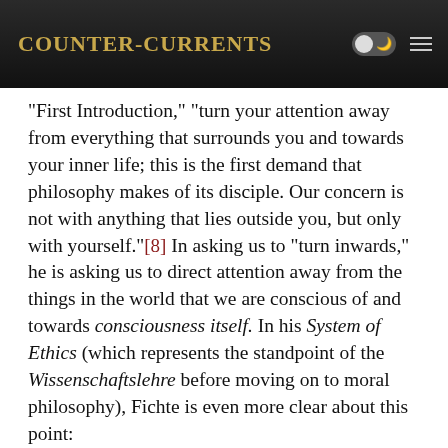Counter-Currents
"First Introduction," "turn your attention away from everything that surrounds you and towards your inner life; this is the first demand that philosophy makes of its disciple. Our concern is not with anything that lies outside you, but only with yourself."[8] In asking us to "turn inwards," he is asking us to direct attention away from the things in the world that we are conscious of and towards consciousness itself. In his System of Ethics (which represents the standpoint of the Wissenschaftslehre before moving on to moral philosophy), Fichte is even more clear about this point:
The easiest way to guide someone toward learning to think and to understand the concept I in a determinate manner is as follows: think for yourself of some object, e.g., the wall in front of you, your desk, or something similar. In doing this you